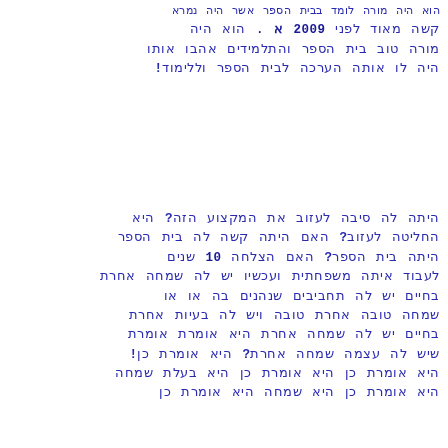Hebrew/Arabic script text paragraph with year 2009 reference and exclamation
Hebrew/Arabic script text paragraph with question marks, number 10, and exclamation